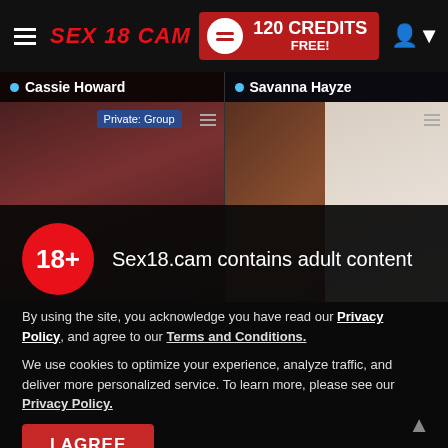SEX 18 CAM | 120 CREDITS FREE!
[Figure (screenshot): Live cam thumbnails showing two performers: Cassie Howard (left, blurred) and Savanna Hayze (right), with Private:Group badge on left cam]
Sex18.cam contains adult content
By using the site, you acknowledge you have read our Privacy Policy, and agree to our Terms and Conditions.
We use cookies to optimize your experience, analyze traffic, and deliver more personalized service. To learn more, please see our Privacy Policy.
I AGREE